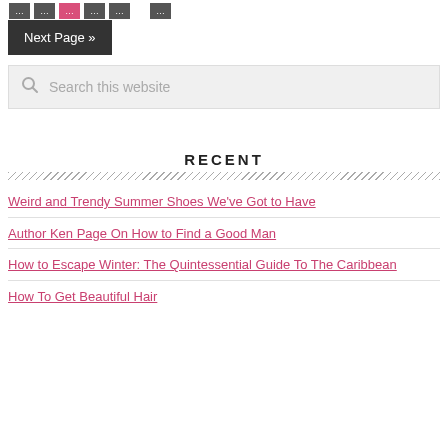Next Page »
[Figure (screenshot): Search box with magnifying glass icon and placeholder text 'Search this website']
RECENT
Weird and Trendy Summer Shoes We've Got to Have
Author Ken Page On How to Find a Good Man
How to Escape Winter: The Quintessential Guide To The Caribbean
How To Get Beautiful Hair